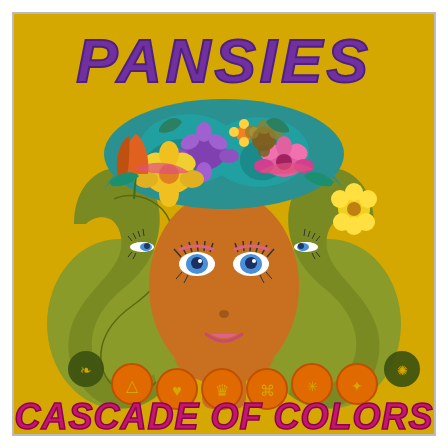[Figure (illustration): Album cover for 'Pansies - Cascade of Colors'. Retro 1960s/70s psychedelic artwork on a golden yellow background. Three female faces shown in profile (two green-skinned side profiles flanking a central orange-faced front-facing figure), all crowned with an elaborate floral arrangement in blues, greens, purples, pinks, oranges, and yellows. The word 'PANSIES' arches across the top in large purple bubbly lettering. The bottom reads 'CASCADE OF COLORS' in large magenta/pink curvy retro lettering. Several decorative orange circle icons with symbols (crown, heart, triangle, star, etc.) appear along the bottom.]